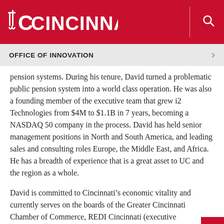UC CINCINNATI
OFFICE OF INNOVATION
pension systems. During his tenure, David turned a problematic public pension system into a world class operation. He was also a founding member of the executive team that grew i2 Technologies from $4M to $1.1B in 7 years, becoming a NASDAQ 50 company in the process. David has held senior management positions in North and South America, and leading sales and consulting roles Europe, the Middle East, and Africa. He has a breadth of experience that is a great asset to UC and the region as a whole.
David is committed to Cincinnati's economic vitality and currently serves on the boards of the Greater Cincinnati Chamber of Commerce, REDI Cincinnati (executive committee), NKY